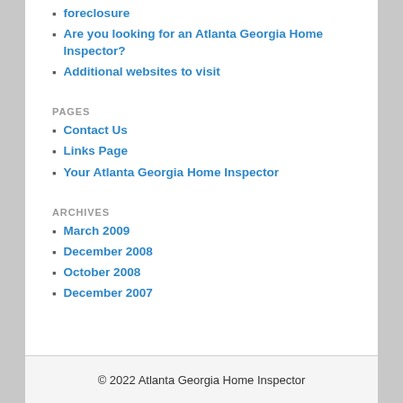foreclosure
Are you looking for an Atlanta Georgia Home Inspector?
Additional websites to visit
PAGES
Contact Us
Links Page
Your Atlanta Georgia Home Inspector
ARCHIVES
March 2009
December 2008
October 2008
December 2007
© 2022 Atlanta Georgia Home Inspector